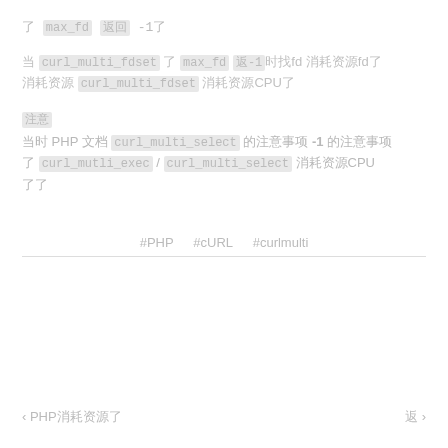了 max_fd 返回 -1了
当 curl_multi_fdset 了 max_fd 返-1时找fd 消耗资源fd了 消耗资源 curl_multi_fdset 消耗资源CPU了
注意
当时 PHP 文档 curl_multi_select 的注意事项 -1 的注意事项 了 curl_mutli_exec / curl_multi_select 消耗资源CPU 了了
#PHP  #cURL  #curlmulti
< PHP消耗资源了    返>